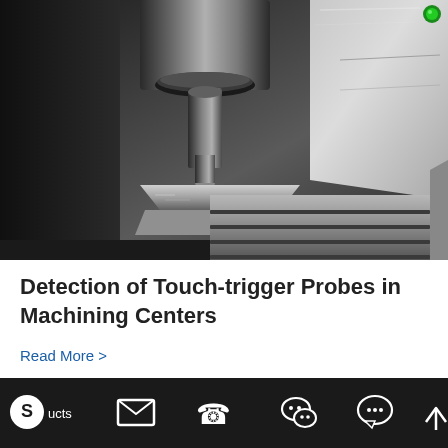[Figure (photo): Close-up photo of a CNC machining center spindle with tool holder and cutting tool positioned above a silver metallic workpiece on a machine table with T-slots. Stainless steel machine bed visible on the right side.]
Detection of Touch-trigger Probes in Machining Centers
Read More >
[Figure (other): Dark footer navigation bar with icons: S (Skype-like) with 'ucts' text, envelope/email icon, phone icon, WeChat icon, speech bubble/chat icon, and up-arrow icon]